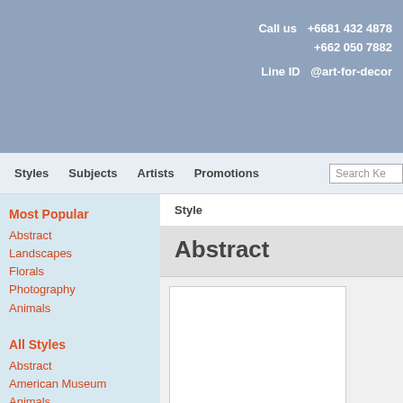Call us +6681 432 4878 +662 050 7882 Line ID @art-for-decor
Styles  Subjects  Artists  Promotions  Search Ke
Most Popular
Abstract
Landscapes
Florals
Photography
Animals
All Styles
Abstract
American Museum
Animals
Architecture
Botanicals
Cartoon
Children
Contemporary
Country
Culinary
Disney
Style
Abstract
[Figure (illustration): Two art product cards shown in a grid layout, white background with border]